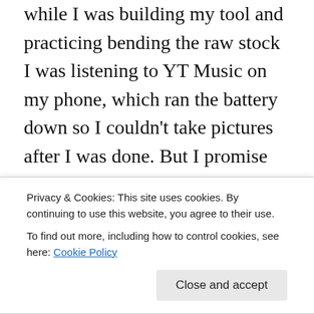while I was building my tool and practicing bending the raw stock I was listening to YT Music on my phone, which ran the battery down so I couldn't take pictures after I was done. But I promise pictures for tomorrow after the phone gets charged.
The tricky part is the heating of the raw stock to make it soft enough to bend without causing the tube to collapse. I ruined many bends because I overheated the tube and collapsed it. I also discovered that heating the stainless steel bolt I'm using as a bending post doesn't work for
Privacy & Cookies: This site uses cookies. By continuing to use this website, you agree to their use. To find out more, including how to control cookies, see here: Cookie Policy
Close and accept
way to go for the plastic tube is to spin the tube on its long